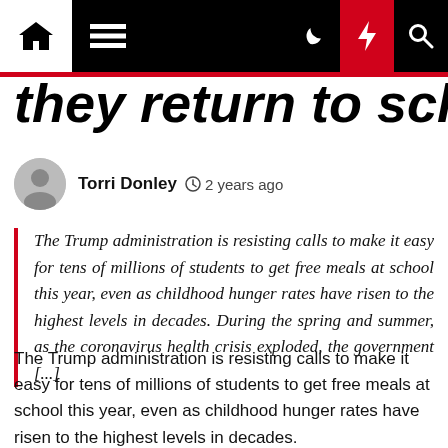Navigation bar with home, menu, dark mode, lightning, and search icons
they return to school
Torri Donley  2 years ago
The Trump administration is resisting calls to make it easy for tens of millions of students to get free meals at school this year, even as childhood hunger rates have risen to the highest levels in decades. During the spring and summer, as the coronavirus health crisis exploded, the government [...]
The Trump administration is resisting calls to make it easy for tens of millions of students to get free meals at school this year, even as childhood hunger rates have risen to the highest levels in decades.